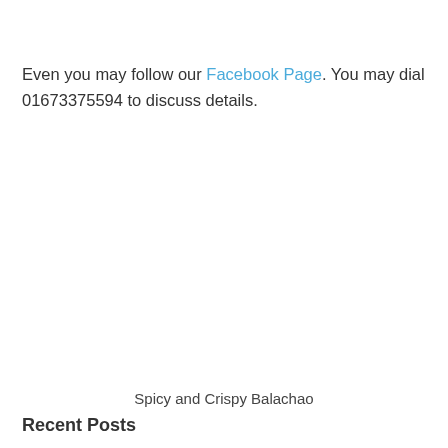Even you may follow our Facebook Page. You may dial 01673375594 to discuss details.
Spicy and Crispy Balachao
Recent Posts